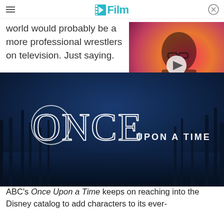/Film
world would probably be a more professional wrestlers on television. Just saying.
[Figure (screenshot): Video thumbnail showing a man with glasses and dark hair, colorful background with a play button overlay]
[Figure (screenshot): Once Upon a Time TV show title card - dark blue misty forest with glowing white ONCE UPON A TIME lettering]
ABC's Once Upon a Time keeps on reaching into the Disney catalog to add characters to its ever-